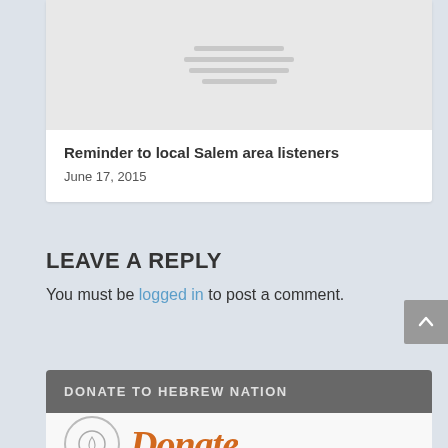[Figure (other): Card image placeholder with gray horizontal lines on light gray background]
Reminder to local Salem area listeners
June 17, 2015
LEAVE A REPLY
You must be logged in to post a comment.
DONATE TO HEBREW NATION
[Figure (logo): Donate logo with circle icon and orange cursive Donate text]